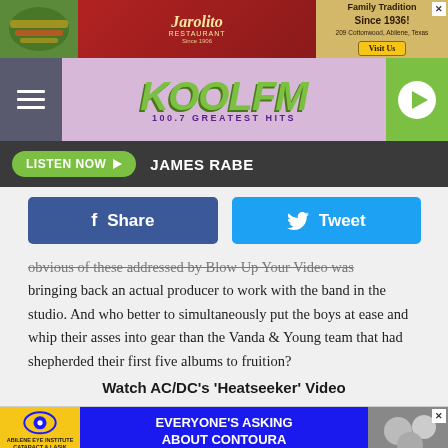[Figure (other): Top advertisement banner for Jarolito Restaurant - Family Tradition Since 1936, 209 Cottonwood, Abilene, Texas with food photo and Visit Us button]
[Figure (logo): KOOL FM 100.7 Greatest Hits radio station logo on lavender background with hamburger menu and green play button]
LISTEN NOW ▶  JAMES RABE
[Figure (other): Facebook Share button and Twitter Tweet button]
obvious of these addressed by Blow Up Your Video was bringing back an actual producer to work with the band in the studio. And who better to simultaneously put the boys at ease and whip their asses into gear than the Vanda & Young team that had shepherded their first five albums to fruition?
Watch AC/DC's 'Heatseeker' Video
[Figure (other): Bottom advertisement for Abilene Eye Institute Cataract & Lasik Surgery Center - Everyone's Asking About Contoura Lasik Vision]